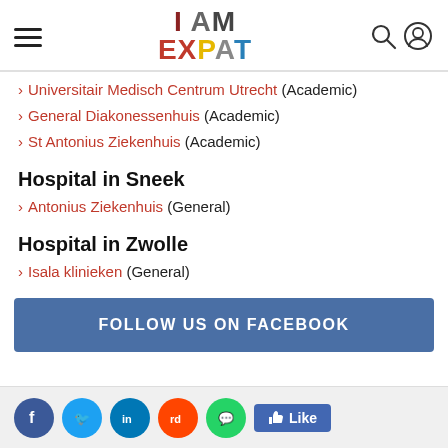IAmExpat header with hamburger menu, logo, search and user icons
> Universitair Medisch Centrum Utrecht (Academic)
> General Diakonessenhuis (Academic)
> St Antonius Ziekenhuis (Academic)
Hospital in Sneek
> Antonius Ziekenhuis (General)
Hospital in Zwolle
> Isala klinieken (General)
[Figure (infographic): Follow us on Facebook banner button in blue]
[Figure (infographic): Social media icons: Facebook, Twitter, LinkedIn, Reddit, WhatsApp, and Like button]